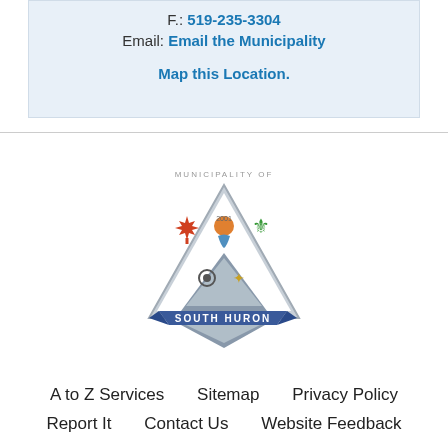F.: 519-235-3304
Email: Email the Municipality
Map this Location.
[Figure (logo): Municipality of South Huron shield logo with maple leaf, sun, trillium, gear, and wheat symbols, triangular shape with blue banner reading 'SOUTH HURON']
A to Z Services    Sitemap    Privacy Policy
Report It    Contact Us    Website Feedback
We work hard to ensure that everyone can access the information and services they need.